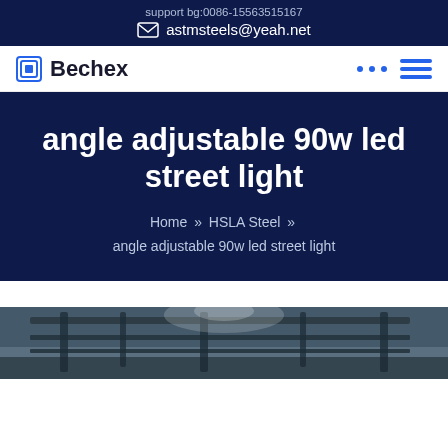support bg:0086-15563515167
astmsteels@yeah.net
Bechex
angle adjustable 90w led street light
Home » HSLA Steel » angle adjustable 90w led street light
[Figure (photo): Industrial/factory interior ceiling photo, partially visible, dark bluish tone with structural beams]